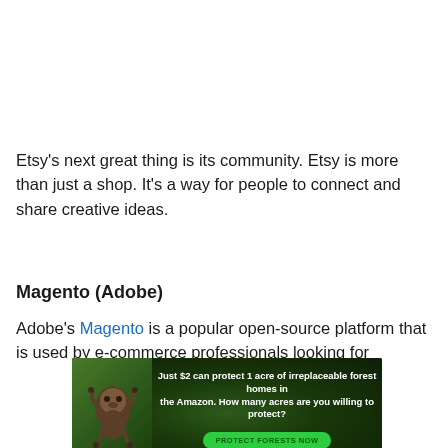Etsy's next great thing is its community. Etsy is more than just a shop. It's a way for people to connect and share creative ideas.
Magento (Adobe)
Adobe's Magento is a popular open-source platform that is used by e-commerce professionals looking for
[Figure (other): Advertisement banner: dark green forest background with a sloth image on the left. Text reads: 'Just $2 can protect 1 acre of irreplaceable forest homes in the Amazon. How many acres are you willing to protect?' with a green 'PROTECT FORESTS NOW' button.]